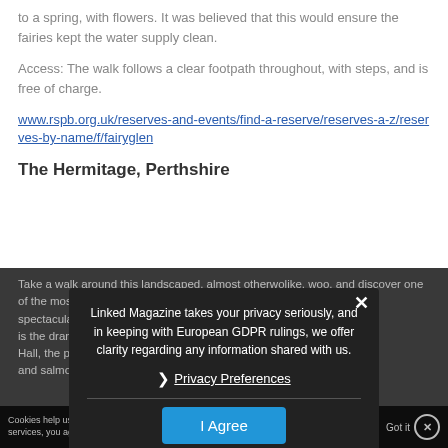to a spring, with flowers. It was believed that this would ensure the fairies kept the water supply clean.
Access: The walk follows a clear footpath throughout, with steps, and is free of charge.
www.rspb.org.uk/reserves-and-events/find-a-reserve/reserves-a-z/reserves-by-name/f/fairyglen
The Hermitage, Perthshire
Take a walk around this landscaped, almost otherworldly like, woodland, and discover one of the most spectacular waterfalls in Scotland. The reserve is the dramatic gorge of the River Braan below Ossian's Hall, the perfect spot from which to spy red squirrels and salmon leaping up the falls.
Linked Magazine takes your privacy seriously, and in keeping with European GDPR rulings, we offer clarity regarding any information shared with us.
Privacy Preferences
I Agree
Cookies help us deliver our services. By using our services, you agree to our use of cookies.
Got it